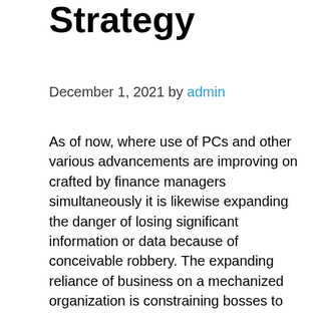Strategy
December 1, 2021 by admin
As of now, where use of PCs and other various advancements are improving on crafted by finance managers simultaneously it is likewise expanding the danger of losing significant information or data because of conceivable robbery. The expanding reliance of business on a mechanized organization is constraining bosses to employ experts, for example, network security administrators, hazard chiefs and data security officials. These experts are vital staff and assume the critical part in shielding the data foundation from deceitful programmers or different